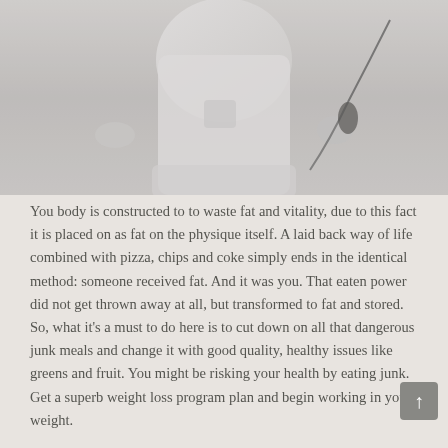[Figure (photo): Photo of a person in light gray/white athletic wear, holding a jump rope, cropped to show torso and hands only, against a light gray background]
You body is constructed to to waste fat and vitality, due to this fact it is placed on as fat on the physique itself. A laid back way of life combined with pizza, chips and coke simply ends in the identical method: someone received fat. And it was you. That eaten power did not get thrown away at all, but transformed to fat and stored. So, what it's a must to do here is to cut down on all that dangerous junk meals and change it with good quality, healthy issues like greens and fruit. You might be risking your health by eating junk. Get a superb weight loss program plan and begin working in your weight.
Multi-station gyms have the benefit of being rather more complicated and offering a wide array of various exercise patterns. This potentially implies that they are often simpler in getting you to maintain match however maybe most clearly to